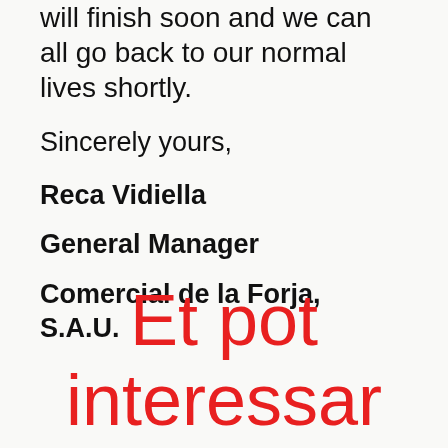will finish soon and we can all go back to our normal lives shortly.
Sincerely yours,
Reca Vidiella
General Manager
Comercial de la Forja, S.A.U.
Et pot interessar